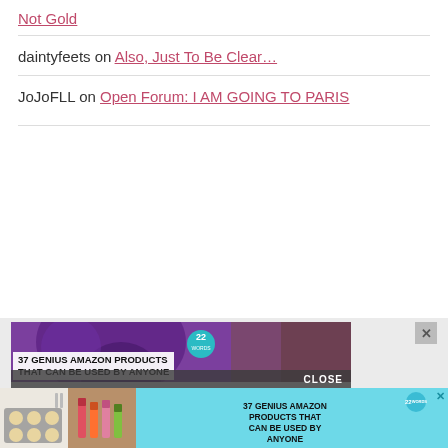Not Gold
daintyfeets on Also, Just To Be Clear…
JoJoFLL on Open Forum: I AM GOING TO PARIS
[Figure (screenshot): Advertisement banner showing purple headphones with text '37 GENIUS AMAZON PRODUCTS THAT CAN BE USED BY ANYONE' and a CLOSE button]
[Figure (screenshot): Second advertisement showing baked goods and makeup products with text '37 GENIUS AMAZON PRODUCTS THAT CAN BE USED BY ANYONE' on cyan background]